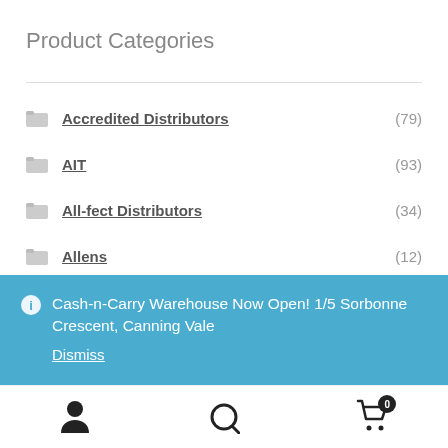Product Categories
Accredited Distributors (79)
AIT (93)
All-fect Distributors (34)
Allens (12)
Baitz (5)
Batteries (2)
Cash-n-Carry Warehouse Now Open! 1/5 Sorbonne Crescent, Canning Vale
Dismiss